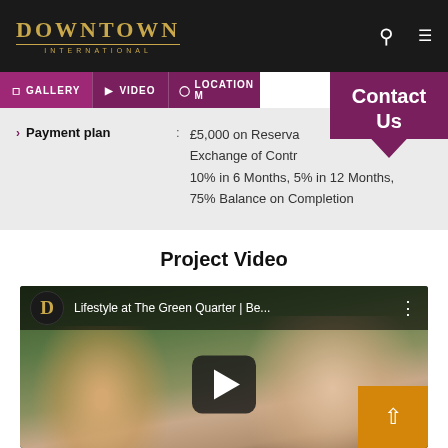DOWNTOWN INTERNATIONAL
Payment plan : £5,000 on Reservation, Exchange of Contracts, 10% in 6 Months, 5% in 12 Months, 75% Balance on Completion
Project Video
[Figure (screenshot): YouTube video thumbnail for 'Lifestyle at The Green Quarter | Be...' showing a couple outdoors, with a play button overlay]